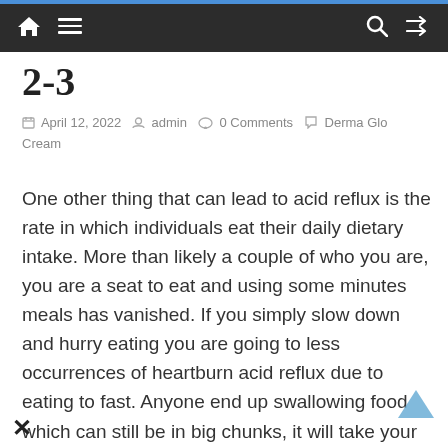Navigation bar with home, menu, search, and shuffle icons
2-3
April 12, 2022  admin  0 Comments  Derma Glo Cream
One other thing that can lead to acid reflux is the rate in which individuals eat their daily dietary intake. More than likely a couple of who you are, you are a seat to eat and using some minutes meals has vanished. If you simply slow down and hurry eating you are going to less occurrences of heartburn acid reflux due to eating to fast. Anyone end up swallowing food which can still be in big chunks, it will take your body longer to digest it's. So when your belly is filled with large chunks of food the level of acid within your stomach is higher.